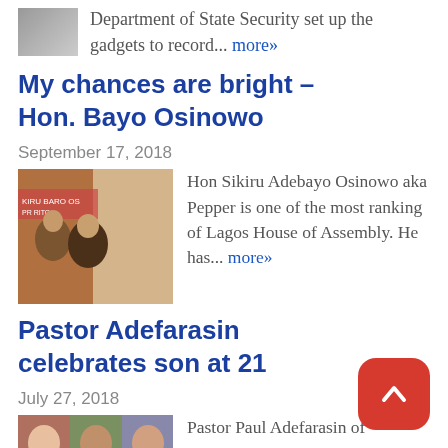Department of State Security set up the gadgets to record... more»
My chances are bright – Hon. Bayo Osinowo
September 17, 2018
Hon Sikiru Adebayo Osinowo aka Pepper is one of the most ranking of Lagos House of Assembly. He has... more»
Pastor Adefarasin celebrates son at 21
July 27, 2018
Pastor Paul Adefarasin of